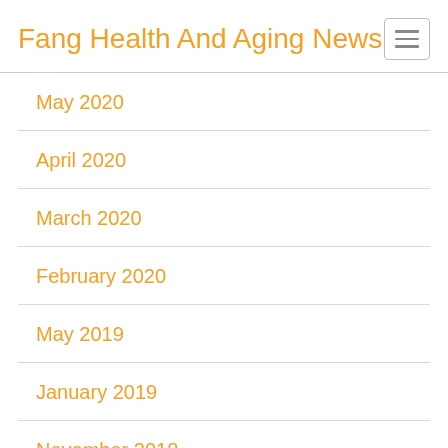Fang Health And Aging News
May 2020
April 2020
March 2020
February 2020
May 2019
January 2019
November 2018
September 2018
July 2018